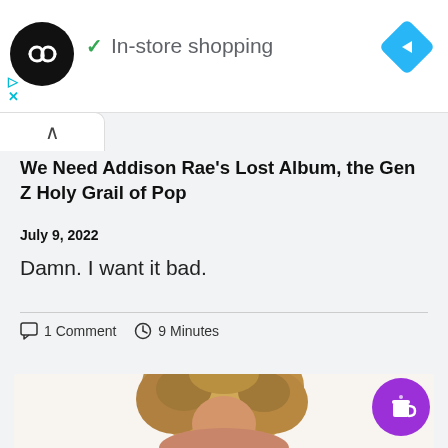[Figure (screenshot): Ad banner with circular black logo containing infinity-like symbol, checkmark, 'In-store shopping' text, blue diamond navigation icon, and ad control icons (play/close)]
[Figure (screenshot): Collapse/accordion tab with upward caret arrow]
We Need Addison Rae's Lost Album, the Gen Z Holy Grail of Pop
July 9, 2022
Damn. I want it bad.
1 Comment   9 Minutes
[Figure (photo): Partial photo of a woman with large curly blonde/brown hair, cropped at bottom of page]